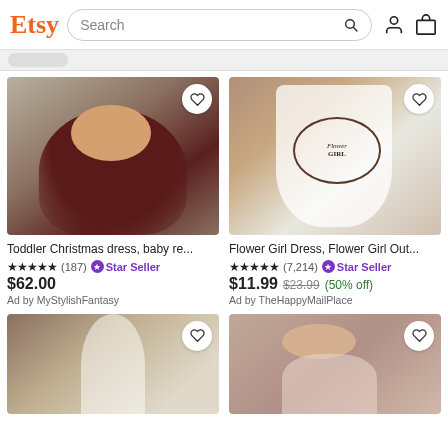Etsy Search
[Figure (screenshot): Etsy website header with logo, search bar, user and cart icons]
[Figure (photo): Baby wearing dark red/maroon ruffled Christmas dress sitting on a sofa]
Toddler Christmas dress, baby re...
★★★★★ (187) Star Seller
$62.00
Ad by MyStylishFantasy
[Figure (photo): White Flower Girl dress with floral wreath print laid flat with accessories]
Flower Girl Dress, Flower Girl Out...
★★★★★ (7,214) Star Seller
$11.99 $23.99 (50% off)
Ad by TheHappyMailPlace
[Figure (photo): Young girl in white tulle dress]
[Figure (photo): Young girl in pink/white dress]